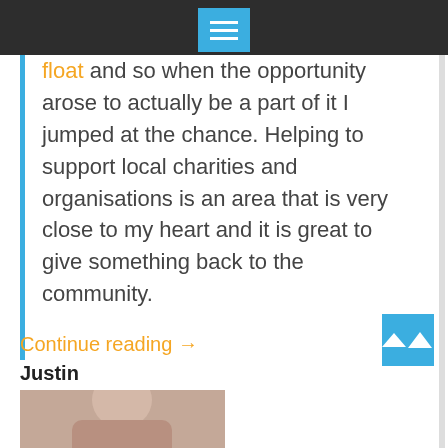[Figure (screenshot): Dark top navigation bar with a blue hamburger menu button centered at the top]
float and so when the opportunity arose to actually be a part of it I jumped at the chance. Helping to support local charities and organisations is an area that is very close to my heart and it is great to give something back to the community.
Continue reading →
Justin
[Figure (photo): Partial photo of a person, cropped at bottom of page]